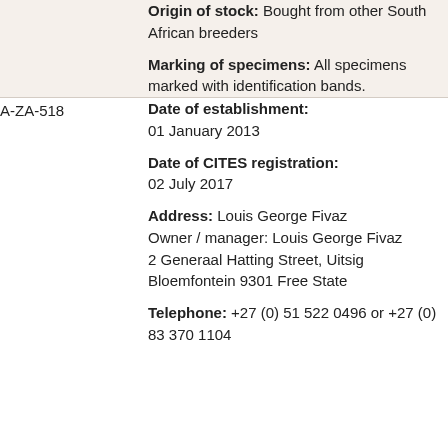Origin of stock: Bought from other South African breeders
Marking of specimens: All specimens marked with identification bands.
A-ZA-518
Date of establishment: 01 January 2013
Date of CITES registration: 02 July 2017
Address: Louis George Fivaz Owner / manager: Louis George Fivaz 2 Generaal Hatting Street, Uitsig Bloemfontein 9301 Free State
Telephone: +27 (0) 51 522 0496 or +27 (0) 83 370 1104